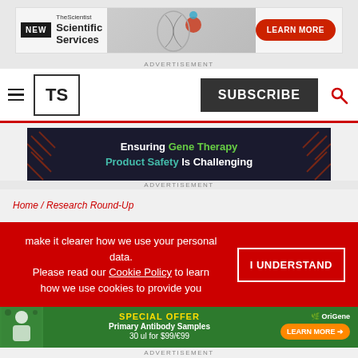[Figure (screenshot): The Scientist Scientific Services advertisement banner with NEW badge and LEARN MORE red button]
ADVERTISEMENT
[Figure (logo): The Scientist TS logo navigation bar with hamburger menu, SUBSCRIBE button, and search icon]
[Figure (screenshot): Ensuring Gene Therapy Product Safety Is Challenging advertisement banner]
ADVERTISEMENT
Home / Research Round-Up
B...ing B...f...
make it clearer how we use your personal data.
Please read our Cookie Policy to learn how we use cookies to provide you
[Figure (screenshot): OriGene Special Offer Primary Antibody Samples 30 ul for $99/€99 advertisement with LEARN MORE button]
ADVERTISEMENT